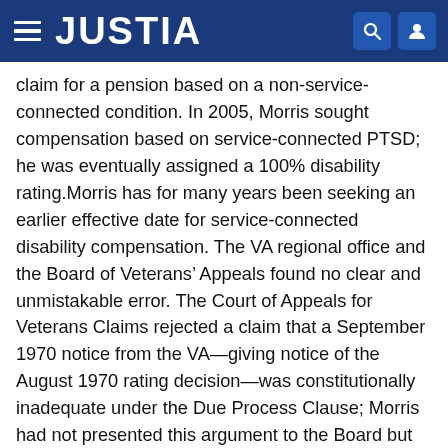JUSTIA
claim for a pension based on a non-service-connected condition. In 2005, Morris sought compensation based on service-connected PTSD; he was eventually assigned a 100% disability rating.Morris has for many years been seeking an earlier effective date for service-connected disability compensation. The VA regional office and the Board of Veterans’ Appeals found no clear and unmistakable error. The Court of Appeals for Veterans Claims rejected a claim that a September 1970 notice from the VA—giving notice of the August 1970 rating decision—was constitutionally inadequate under the Due Process Clause; Morris had not presented this argument to the Board but contended that the Veterans Court was obligated to consider this constitutional question in the first instance under 38 U.S.C. 7261(a)(1). The Veterans Court exercised its discretion, under issue-exhaustion precedents, to decline to entertain the